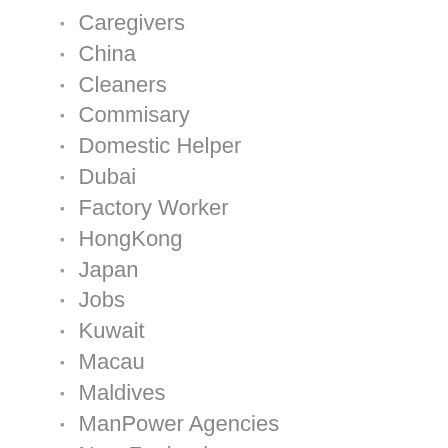Caregivers
China
Cleaners
Commisary
Domestic Helper
Dubai
Factory Worker
HongKong
Japan
Jobs
Kuwait
Macau
Maldives
ManPower Agencies
New Zealand
Nurses
Philippines